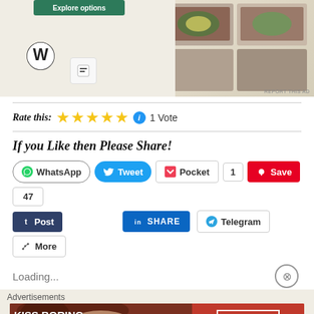[Figure (screenshot): Top portion of a webpage screenshot showing a website builder ad with WordPress logo, food photography, and an Explore options button]
REPORT THIS AD
Rate this: ★★★★★ 1 Vote
If you Like then Please Share!
WhatsApp  Tweet  Pocket  1  Save  47  Post  SHARE  Telegram  More
Loading...
Advertisements
[Figure (photo): Macy's advertisement banner: KISS BORING LIPS GOODBYE with red lips photo, SHOP NOW button and Macy's star logo]